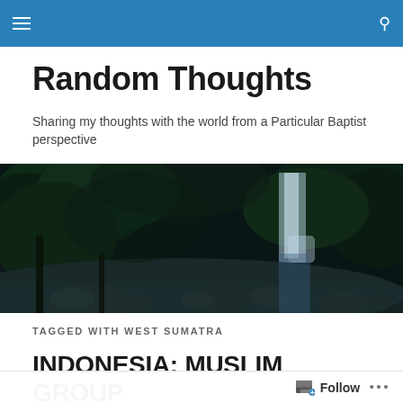Random Thoughts — navigation bar
Random Thoughts
Sharing my thoughts with the world from a Particular Baptist perspective
[Figure (photo): Dark forest landscape with waterfall and rocky stream]
TAGGED WITH WEST SUMATRA
INDONESIA: MUSLIM GROUP THREATENS NEWLY …
Follow …